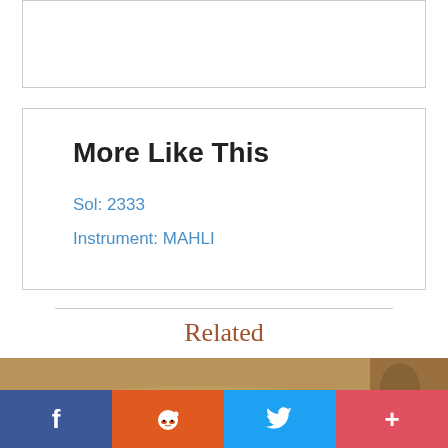More Like This
Sol: 2333
Instrument: MAHLI
Related
[Figure (photo): Mars surface photo showing sandy/rocky terrain in brown tones, taken by MAHLI instrument on Sol 2333]
[Figure (photo): Partial Mars surface photo on right side showing rocky terrain]